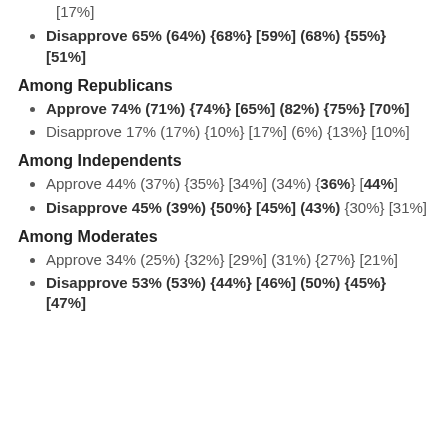[17%]
Disapprove 65% (64%) {68%} [59%] (68%) {55%} [51%]
Among Republicans
Approve 74% (71%) {74%} [65%] (82%) {75%} [70%]
Disapprove 17% (17%) {10%} [17%] (6%) {13%} [10%]
Among Independents
Approve 44% (37%) {35%} [34%] (34%) {36%} [44%]
Disapprove 45% (39%) {50%} [45%] (43%) {30%} [31%]
Among Moderates
Approve 34% (25%) {32%} [29%] (31%) {27%} [21%]
Disapprove 53% (53%) {44%} [46%] (50%) {45%} [47%]